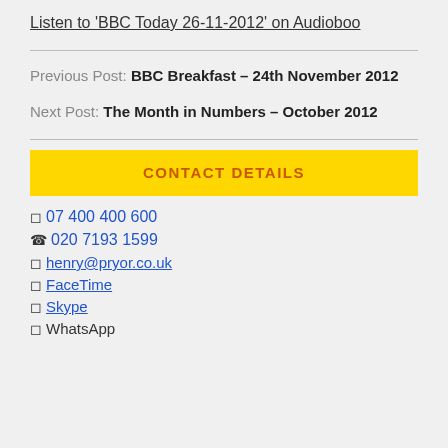Listen to 'BBC Today 26-11-2012' on Audioboo
Previous Post: BBC Breakfast – 24th November 2012
Next Post: The Month in Numbers – October 2012
CONTACT DETAILS
07 400 400 600
020 7193 1599
henry@pryor.co.uk
FaceTime
Skype
WhatsApp